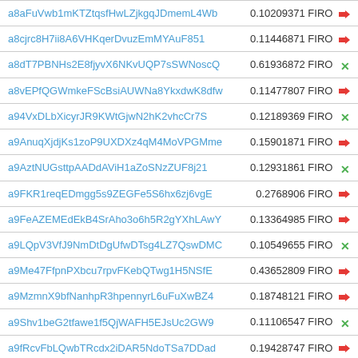| Link | Value | Type | Status |
| --- | --- | --- | --- |
| a8aFuVwb1mKTZtqsfHwLZjkgqJDmemL4Wb | 0.10209371 FIRO | → |
| a8cjrc8H7ii8A6VHKqerDvuzEmMYAuF851 | 0.11446871 FIRO | → |
| a8dT7PBNHs2E8fjyvX6NKvUQP7sSWNoscQ | 0.61936872 FIRO | × |
| a8vEPfQGWmkeFScBsiAUWNa8YkxdwK8dfw | 0.11477807 FIRO | → |
| a94VxDLbXicyrJR9KWtGjwN2hK2vhcCr7S | 0.12189369 FIRO | × |
| a9AnuqXjdjKs1zoP9UXDXz4qM4MoVPGMme | 0.15901871 FIRO | → |
| a9AztNUGsttpAADdAViH1aZoSNzZUF8j21 | 0.12931861 FIRO | × |
| a9FKR1reqEDmgg5s9ZEGFe5S6hx6zj6vgE | 0.2768906 FIRO | → |
| a9FeAZEMEdEkB4SrAho3o6h5R2gYXhLAwY | 0.13364985 FIRO | → |
| a9LQpV3VfJ9NmDtDgUfwDTsg4LZ7QswDMC | 0.10549655 FIRO | × |
| a9Me47FfpnPXbcu7rpvFKebQTwg1H5NSfE | 0.43652809 FIRO | → |
| a9MzmnX9bfNanhpR3hpennyrL6uFuXwBZ4 | 0.18748121 FIRO | → |
| a9Shv1beG2tfawe1f5QjWAFH5EJsUc2GW9 | 0.11106547 FIRO | × |
| a9fRcvFbLQwbTRcdx2iDAR5NdoTSa7DDad | 0.19428747 FIRO | → |
| a9fuswQ4JYMsTSgVxtai6Ckm4LPjDMkzDN | 1.01258436 FIRO | → |